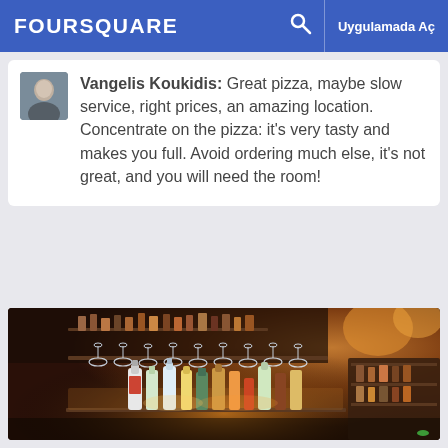FOURSQUARE  🔍  Uygulamada Aç
Vangelis Koukidis: Great pizza, maybe slow service, right prices, an amazing location. Concentrate on the pizza: it's very tasty and makes you full. Avoid ordering much else, it's not great, and you will need the room!
[Figure (photo): Interior bar/restaurant photo showing shelves of liquor bottles lit warmly from below, wine glasses hanging upside down from a rack above, dark warm-toned ambiance.]